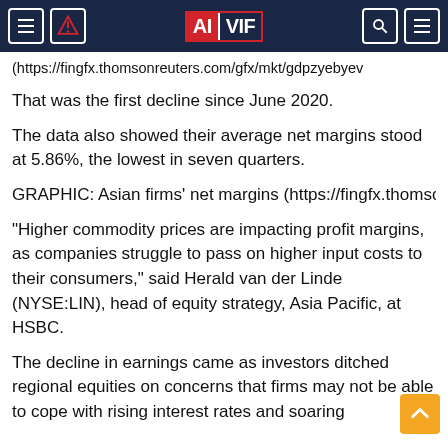AIVIF navigation bar
(https://fingfx.thomsonreuters.com/gfx/mkt/gdpzyebyev
That was the first decline since June 2020.
The data also showed their average net margins stood at 5.86%, the lowest in seven quarters.
GRAPHIC: Asian firms' net margins (https://fingfx.thomsonreuters.com/gfx/mkt/jnpwezneopr
"Higher commodity prices are impacting profit margins, as companies struggle to pass on higher input costs to their consumers," said Herald van der Linde (NYSE:LIN), head of equity strategy, Asia Pacific, at HSBC.
The decline in earnings came as investors ditched regional equities on concerns that firms may not be able to cope with rising interest rates and soaring